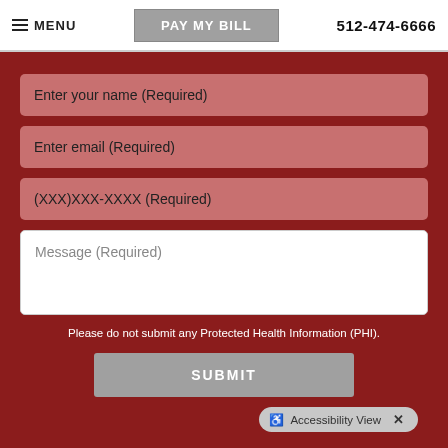MENU | PAY MY BILL | 512-474-6666
Enter your name (Required)
Enter email (Required)
(XXX)XXX-XXXX (Required)
Message (Required)
Please do not submit any Protected Health Information (PHI).
SUBMIT
Accessibility View